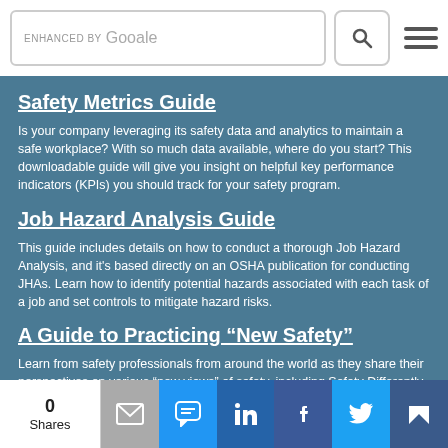ENHANCED BY Google [search bar with search button and menu]
Safety Metrics Guide
Is your company leveraging its safety data and analytics to maintain a safe workplace? With so much data available, where do you start? This downloadable guide will give you insight on helpful key performance indicators (KPIs) you should track for your safety program.
Job Hazard Analysis Guide
This guide includes details on how to conduct a thorough Job Hazard Analysis, and it's based directly on an OSHA publication for conducting JHAs. Learn how to identify potential hazards associated with each task of a job and set controls to mitigate hazard risks.
A Guide to Practicing “New Safety”
Learn from safety professionals from around the world as they share their perspectives on various “new views” of safety, including Safety Differently, Safety-II, No Safety, Human and
0 Shares [email] [SMS] [LinkedIn] [Facebook] [Twitter] [bookmark]